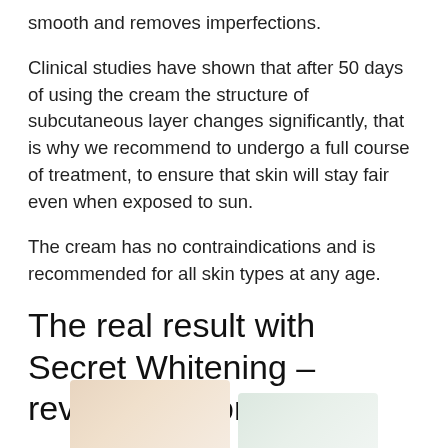smooth and removes imperfections.
Clinical studies have shown that after 50 days of using the cream the structure of subcutaneous layer changes significantly, that is why we recommend to undergo a full course of treatment, to ensure that skin will stay fair even when exposed to sun.
The cream has no contraindications and is recommended for all skin types at any age.
The real result with Secret Whitening – review, opinion, forum
[Figure (photo): Partial view of product or before/after photos at the bottom of the page]